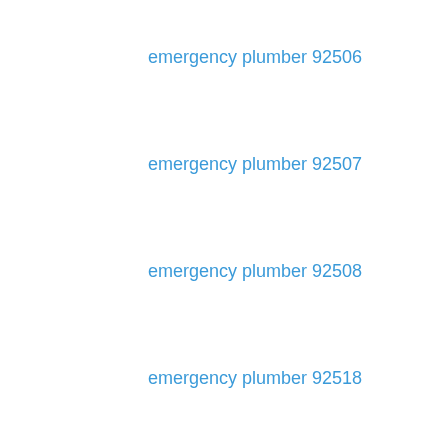emergency plumber 92506
emergency plumber 92507
emergency plumber 92508
emergency plumber 92518
emergency plumber 92548
emergency plumber 92549
emergency plumber 92551
emergency plumber 92552
emergency plumber 92553
emergency plumber 92554